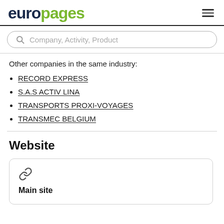europages
Company, Activity, Product
Other companies in the same industry:
RECORD EXPRESS
S.A.S ACTIV LINA
TRANSPORTS PROXI-VOYAGES
TRANSMEC BELGIUM
Website
Main site